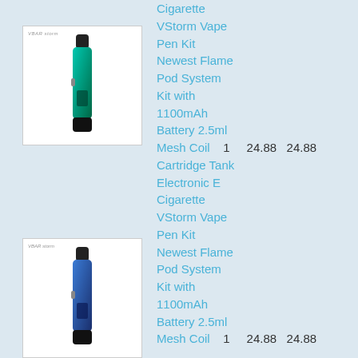[Figure (photo): Product photo of VStorm Vape Pen Kit (green/black) in white box]
Cigarette VStorm Vape Pen Kit Newest Flame Pod System Kit with 1100mAh Battery 2.5ml Mesh Coil Cartridge Tank Electronic E Cigarette VStorm Vape Pen Kit Newest Flame Pod System Kit with 1100mAh Battery 2.5ml Mesh Coil Cartridge Tank Electronic E Cigarette
| Product | Qty | Unit Price | Total |
| --- | --- | --- | --- |
| Mesh Coil Cartridge Tank Electronic E Cigarette VStorm Vape Pen Kit Newest Flame Pod System Kit with 1100mAh Battery 2.5ml Mesh Coil | 1 | 24.88 | 24.88 |
| Mesh Coil Cartridge Tank Electronic E Cigarette VStorm Vape Pen Kit Newest Flame Pod System Kit with 1100mAh Battery 2.5ml Mesh Coil | 1 | 24.88 | 24.88 |
[Figure (photo): Product photo of VStorm Vape Pen Kit (blue/black) in white box]